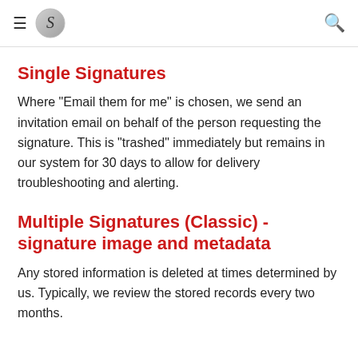≡ S 🔍
Single Signatures
Where "Email them for me" is chosen, we send an invitation email on behalf of the person requesting the signature. This is "trashed" immediately but remains in our system for 30 days to allow for delivery troubleshooting and alerting.
Multiple Signatures (Classic) - signature image and metadata
Any stored information is deleted at times determined by us. Typically, we review the stored records every two months.